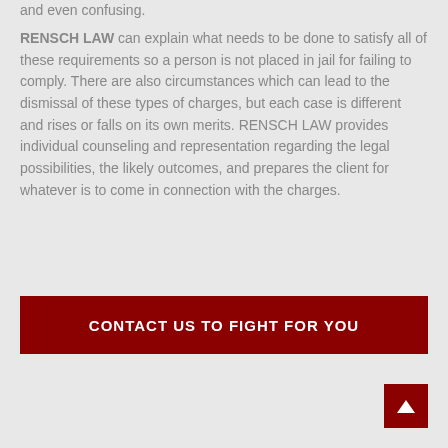and even confusing.
RENSCH LAW can explain what needs to be done to satisfy all of these requirements so a person is not placed in jail for failing to comply. There are also circumstances which can lead to the dismissal of these types of charges, but each case is different and rises or falls on its own merits. RENSCH LAW provides individual counseling and representation regarding the legal possibilities, the likely outcomes, and prepares the client for whatever is to come in connection with the charges.
CONTACT US TO FIGHT FOR YOU